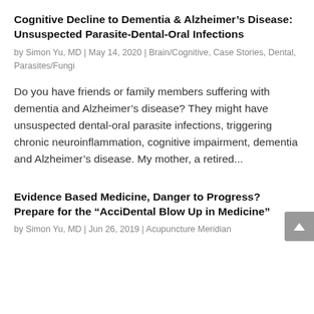Cognitive Decline to Dementia & Alzheimer's Disease: Unsuspected Parasite-Dental-Oral Infections
by Simon Yu, MD | May 14, 2020 | Brain/Cognitive, Case Stories, Dental, Parasites/Fungi
Do you have friends or family members suffering with dementia and Alzheimer's disease? They might have unsuspected dental-oral parasite infections, triggering chronic neuroinflammation, cognitive impairment, dementia and Alzheimer's disease. My mother, a retired...
Evidence Based Medicine, Danger to Progress? Prepare for the “AcciDental Blow Up in Medicine”
by Simon Yu, MD | Jun 26, 2019 | Acupuncture Meridian